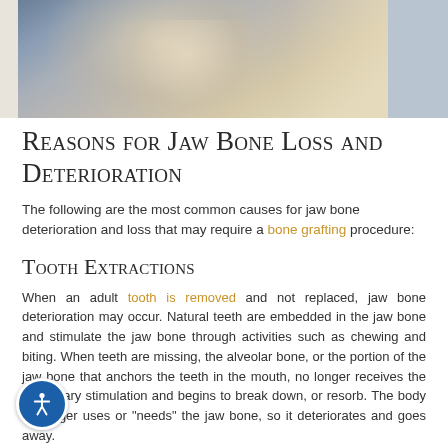[Figure (photo): Photo of two smiling elderly people outdoors, partially cropped at top of page]
Reasons for Jaw Bone Loss and Deterioration
The following are the most common causes for jaw bone deterioration and loss that may require a bone grafting procedure:
Tooth Extractions
When an adult tooth is removed and not replaced, jaw bone deterioration may occur. Natural teeth are embedded in the jaw bone and stimulate the jaw bone through activities such as chewing and biting. When teeth are missing, the alveolar bone, or the portion of the jaw bone that anchors the teeth in the mouth, no longer receives the necessary stimulation and begins to break down, or resorb. The body no longer uses or "needs" the jaw bone, so it deteriorates and goes away.